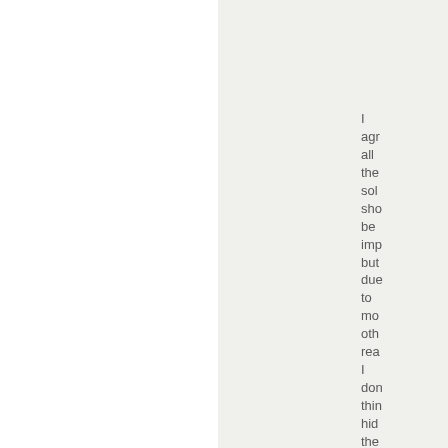I agree all the solutions should be implemented but due to more other reasons I don't think hiding the